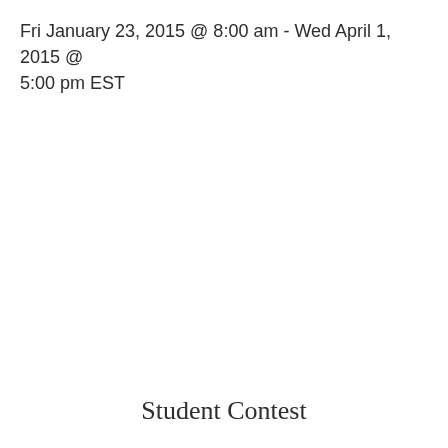Fri January 23, 2015 @ 8:00 am - Wed April 1, 2015 @ 5:00 pm EST
Student Contest